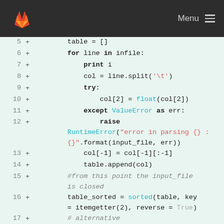Menu
[Figure (screenshot): Code diff view showing Python source lines 5-18 with line numbers, plus signs, and syntax-highlighted code on a light green background.]